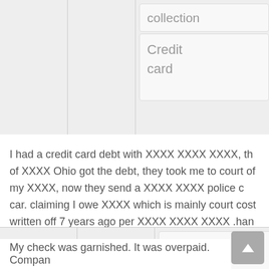| Date | Timely response? | Product / Sub-product |
| --- | --- | --- |
|  |  | collection / Credit card |
I had a credit card debt with XXXX XXXX XXXX, th of XXXX Ohio got the debt, they took me to court of my XXXX, now they send a XXXX XXXX police c car. claiming I owe XXXX which is mainly court cost written off 7 years ago per XXXX XXXX XXXX .han
| Date | Timely response? | Product / Sub-product |
| --- | --- | --- |
| 12/19/2016 | Yes | Debt collection / Auto |
My check was garnished. It was overpaid. Compan